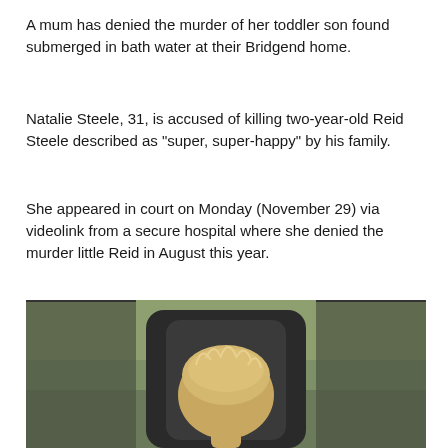A mum has denied the murder of her toddler son found submerged in bath water at their Bridgend home.
Natalie Steele, 31, is accused of killing two-year-old Reid Steele described as "super, super-happy" by his family.
She appeared in court on Monday (November 29) via videolink from a secure hospital where she denied the murder little Reid in August this year.
Steele, dressed in a grey jumper and with her brown hair tied up, spoke only to confirm her name, date of birth and enter her not guilty plea to murder.
[Figure (photo): Photo of a young child (Reid Steele) seen from behind, sitting in a car seat, with blond hair visible.]